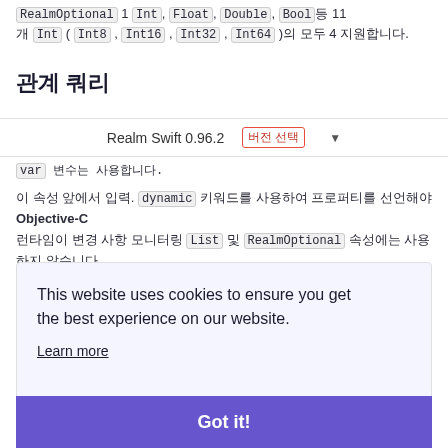RealmOptional 1 Int, Float, Double, Bool등 11개 Int (Int8, Int16, Int32, Int64)의 모두 4 지원합니다.
관계 쿼리
Realm Swift 0.96.2 버전 선택 ▼
var 변수는 사용합니다.
이 속성 앞에서 입력. dynamic 키워드를 사용하여 프로퍼티를 선언해야 Objective-C 런타임이 변경 사항 모니터링 List 및 RealmOptional 속성에는 사용하지 않습니다.
This website uses cookies to ensure you get the best experience on our website.
Learn more
Got it!